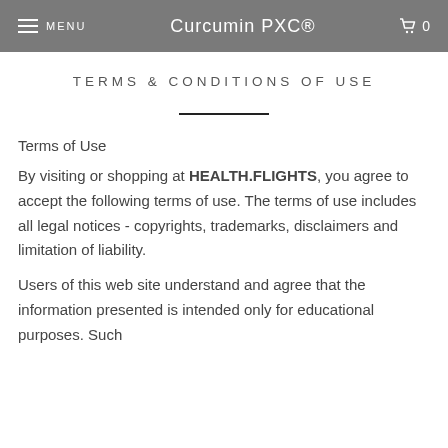MENU   Curcumin PXC®   0
TERMS & CONDITIONS OF USE
Terms of Use
By visiting or shopping at HEALTH.FLIGHTS, you agree to accept the following terms of use. The terms of use includes all legal notices - copyrights, trademarks, disclaimers and limitation of liability.
Users of this web site understand and agree that the information presented is intended only for educational purposes. Such